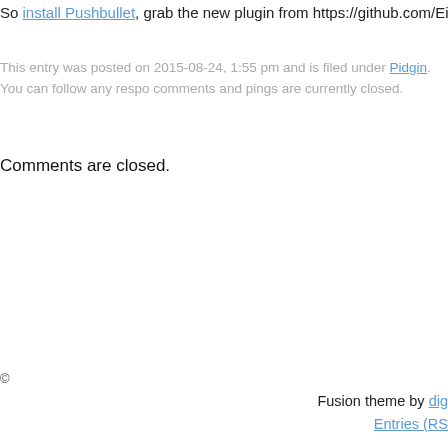So install Pushbullet, grab the new plugin from https://github.com/EionRobb/pidgin-p
This entry was posted on 2015-08-24, 1:55 pm and is filed under Pidgin. You can follow any respo comments and pings are currently closed.
Comments are closed.
©
Fusion theme by dig Entries (RS